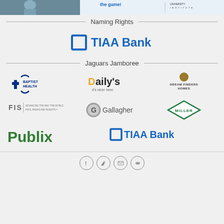[Figure (photo): Top banner advertisement with text 'the game!' and athletic imagery, with a university institute logo on the right]
Naming Rights
[Figure (logo): TIAA Bank logo with blue square icon and bold blue text]
Jaguars Jamboree
[Figure (logo): Baptist Health logo with cross icon and blue text]
[Figure (logo): Daily's - It's nicer here. logo]
[Figure (logo): Dream Finders Homes logo with gold circle]
[Figure (logo): FIS - Advancing the way the world pays, banks and invests logo]
[Figure (logo): Gallagher logo with G icon]
[Figure (logo): Miller diamond logo in green]
[Figure (logo): Publix logo in green]
[Figure (logo): TIAA Bank logo with blue square icon]
[Figure (infographic): Social media sharing icons: Facebook, Twitter, Email, Link]